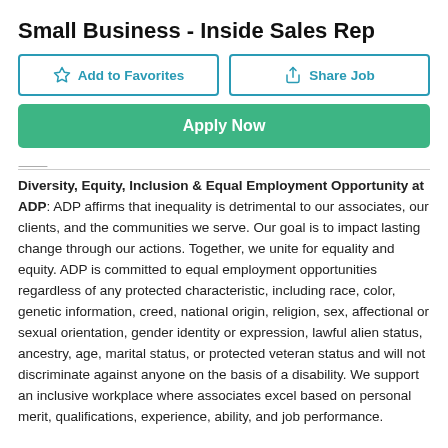Small Business - Inside Sales Rep
Add to Favorites  Share Job  Apply Now
Diversity, Equity, Inclusion & Equal Employment Opportunity at ADP: ADP affirms that inequality is detrimental to our associates, our clients, and the communities we serve. Our goal is to impact lasting change through our actions. Together, we unite for equality and equity. ADP is committed to equal employment opportunities regardless of any protected characteristic, including race, color, genetic information, creed, national origin, religion, sex, affectional or sexual orientation, gender identity or expression, lawful alien status, ancestry, age, marital status, or protected veteran status and will not discriminate against anyone on the basis of a disability. We support an inclusive workplace where associates excel based on personal merit, qualifications, experience, ability, and job performance.